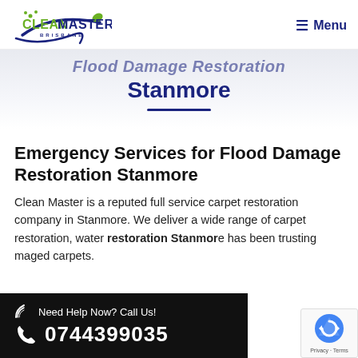[Figure (logo): Clean Master Brisbane logo with green and dark blue text and swoosh graphic]
≡ Menu
Flood Damage Restoration Stanmore
Emergency Services for Flood Damage Restoration Stanmore
Clean Master is a reputed full service carpet restoration company in Stanmore. We deliver a wide range of carpet restoration, water restoration Stanmore. The company has been trusting damaged carpets.
Need Help Now? Call Us! 0744399035